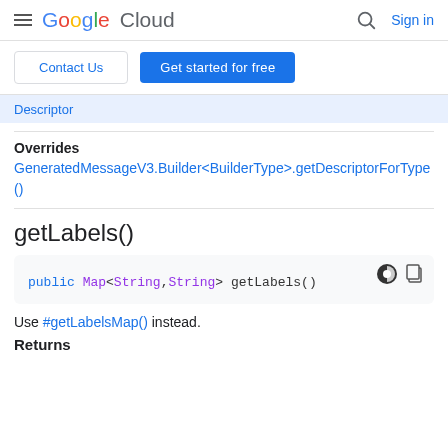Google Cloud  Sign in
Contact Us  Get started for free
Descriptor
Overrides
GeneratedMessageV3.Builder<BuilderType>.getDescriptorForType()
getLabels()
public Map<String,String> getLabels()
Use #getLabelsMap() instead.
Returns